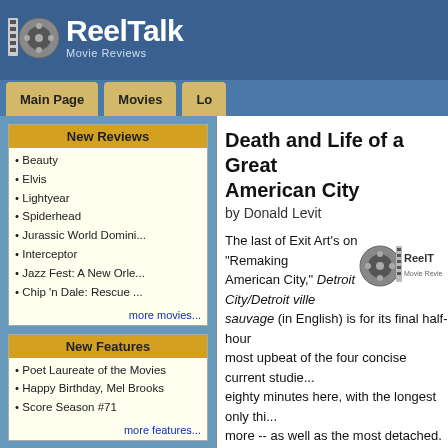[Figure (logo): ReelTalk Movie Reviews logo with film reel icon and white text on blue background]
Main Page | Movies | Lo...
New Reviews
Beauty
Elvis
Lightyear
Spiderhead
Jurassic World Domini...
Interceptor
Jazz Fest: A New Orle...
Chip 'n Dale: Rescue ...
more movies...
New Features
Poet Laureate of the Movies
Happy Birthday, Mel Brooks
Score Season #71
more features...
Navigation
ReelTalk Home Page
Movies
Features
Forum
Search
Contests
Death and Life of a Great American City
by Donald Levit
The last of Exit Art’s once weekly “Remaking American City,” Detroit Wild City/Detroit ville sauvage (in English) is for its final half-hour most upbeat of the four concise current studies eighty minutes here, with the longest only thi... more -- as well as the most detached. While a... down narration, director-writer-cameraman-e... Florent Tillon chooses to have none whatsoev... what at first seem disembodied voices turn ou... nicely integrated opening lines from one parti... or another who is soon onscreen. Furthermore... are not the usual purported experts but, instea... residents who have not joined the exodus sta...